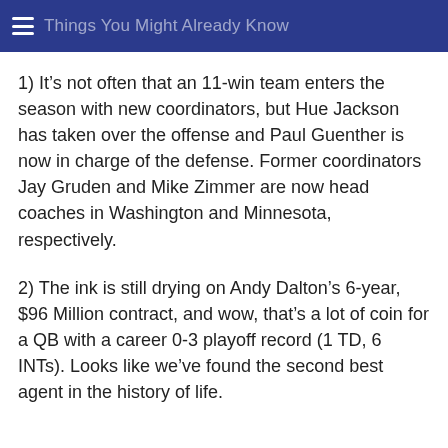Things You Might Already Know
1) It’s not often that an 11-win team enters the season with new coordinators, but Hue Jackson has taken over the offense and Paul Guenther is now in charge of the defense. Former coordinators Jay Gruden and Mike Zimmer are now head coaches in Washington and Minnesota, respectively.
2) The ink is still drying on Andy Dalton’s 6-year, $96 Million contract, and wow, that’s a lot of coin for a QB with a career 0-3 playoff record (1 TD, 6 INTs). Looks like we’ve found the second best agent in the history of life.